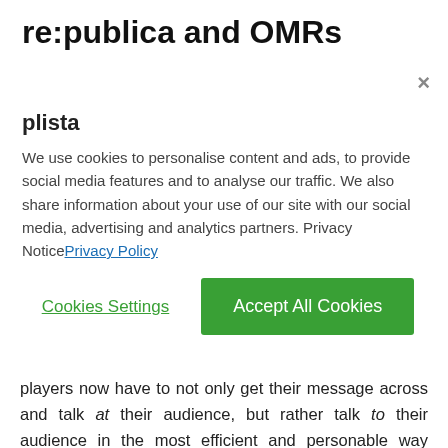re:publica and OMRs Recap
plista
We use cookies to personalise content and ads, to provide social media features and to analyse our traffic. We also share information about your use of our site with our social media, advertising and analytics partners. Privacy NoticePrivacy Policy
Cookies Settings
Accept All Cookies
players now have to not only get their message across and talk at their audience, but rather talk to their audience in the most efficient and personable way possible for acceptance. Simultaneously, the steady rise of Artificial Intelligence (AI) signifies the importance of data rather than the concept of "robots taking over the